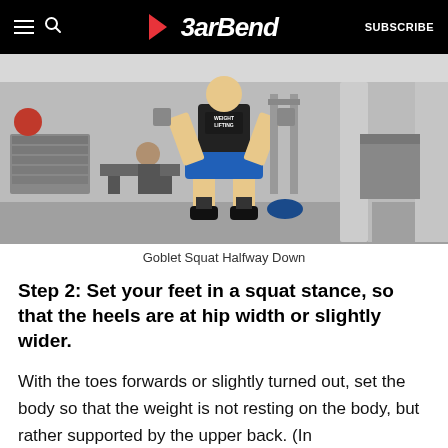BarBend — SUBSCRIBE
[Figure (photo): A man performing a goblet squat halfway down in a gym, wearing a black weightlifting tank top and blue shorts, with gym equipment visible in the background.]
Goblet Squat Halfway Down
Step 2: Set your feet in a squat stance, so that the heels are at hip width or slightly wider.
With the toes forwards or slightly turned out, set the body so that the weight is not resting on the body, but rather supported by the upper back. (In